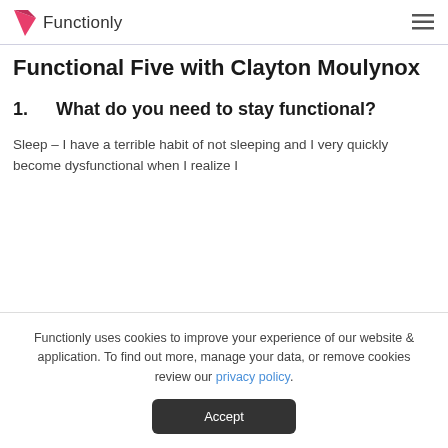Functionly
Functional Five with Clayton Moulynox
1.    What do you need to stay functional?
Sleep – I have a terrible habit of not sleeping and I very quickly become dysfunctional when I realize I
Functionly uses cookies to improve your experience of our website & application. To find out more, manage your data, or remove cookies review our privacy policy.
Accept